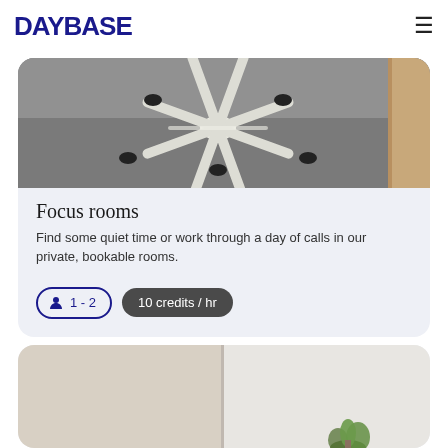DAYBASE
[Figure (photo): Close-up photo of a white office chair base with casters on a grey carpet, with a wooden table edge visible on the right.]
Focus rooms
Find some quiet time or work through a day of calls in our private, bookable rooms.
1 - 2
10 credits / hr
[Figure (photo): Photo of a bright modern office or meeting room with a plant and light-coloured walls. Two panels visible — one beige, one lighter.]